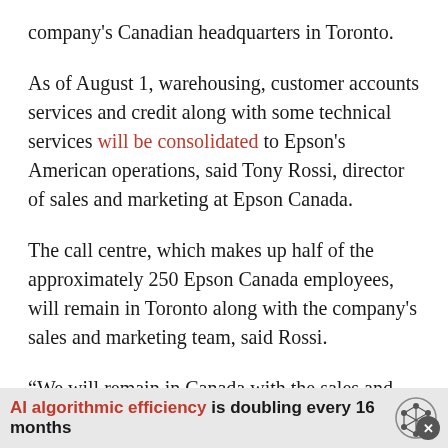company's Canadian headquarters in Toronto.
As of August 1, warehousing, customer accounts services and credit along with some technical services will be consolidated to Epson's American operations, said Tony Rossi, director of sales and marketing at Epson Canada.
The call centre, which makes up half of the approximately 250 Epson Canada employees, will remain in Toronto along with the company's sales and marketing team, said Rossi.
“We will remain in Canada with the sales and
AI algorithmic efficiency is doubling every 16 months